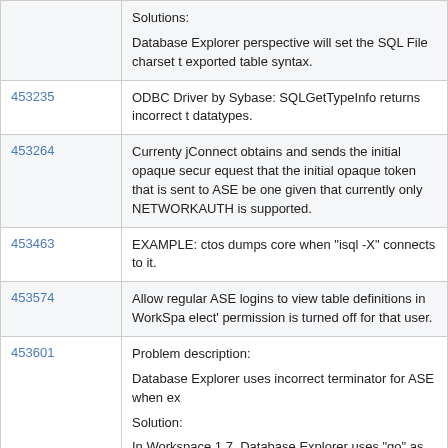| CR# | Description |
| --- | --- |
|  | Solutions:
Database Explorer perspective will set the SQL File charset t... exported table syntax. |
| 453235 | ODBC Driver by Sybase: SQLGetTypeInfo returns incorrect t... datatypes. |
| 453264 | Currenty jConnect obtains and sends the initial opaque secur... equest that the initial opaque token that is sent to ASE be one... given that currently only NETWORKAUTH is supported. |
| 453463 | EXAMPLE: ctos dumps core when "isql -X" connects to it. |
| 453574 | Allow regular ASE logins to view table definitions in WorkSpa... elect' permission is turned off for that user. |
| 453601 | Problem description:
Database Explorer uses incorrect terminator for ASE when ex...
Solution:
In Workspace 1.7, Database Explorer uses "go" as the statem... able syntax or logging activity. |
| 453714 | OLE DB Provider by Sybase: From a Microsoft SQL Server li... ullable column in the where clause. |
| 453895 | ODBC Driver by Sybase: SQLExecDirect fails with DELETE ... |